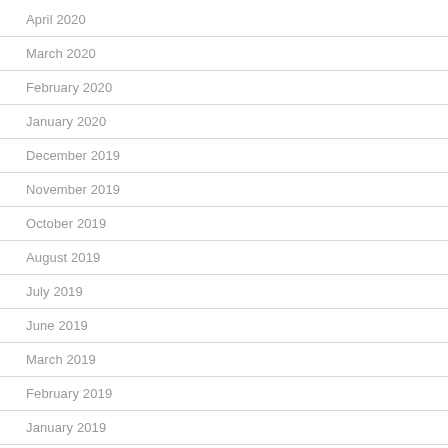April 2020
March 2020
February 2020
January 2020
December 2019
November 2019
October 2019
August 2019
July 2019
June 2019
March 2019
February 2019
January 2019
December 2018